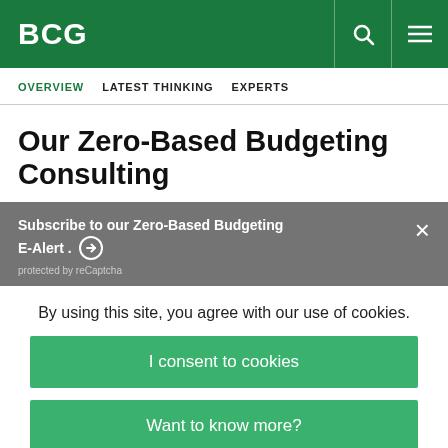BCG
OVERVIEW   LATEST THINKING   EXPERTS
Our Zero-Based Budgeting Consulting
Subscribe to our Zero-Based Budgeting E-Alert. protected by reCaptcha
By using this site, you agree with our use of cookies.
I consent to cookies
Want to know more?
Read our Cookie Policy